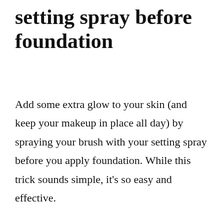setting spray before foundation
Add some extra glow to your skin (and keep your makeup in place all day) by spraying your brush with your setting spray before you apply foundation. While this trick sounds simple, it's so easy and effective.